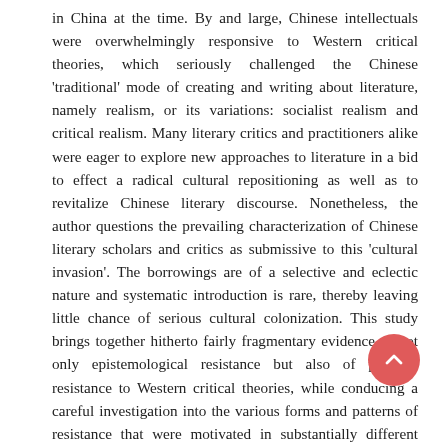in China at the time. By and large, Chinese intellectuals were overwhelmingly responsive to Western critical theories, which seriously challenged the Chinese 'traditional' mode of creating and writing about literature, namely realism, or its variations: socialist realism and critical realism. Many literary critics and practitioners alike were eager to explore new approaches to literature in a bid to effect a radical cultural repositioning as well as to revitalize Chinese literary discourse. Nonetheless, the author questions the prevailing characterization of Chinese literary scholars and critics as submissive to this 'cultural invasion'. The borrowings are of a selective and eclectic nature and systematic introduction is rare, thereby leaving little chance of serious cultural colonization. This study brings together hitherto fairly fragmentary evidence of not only epistemological resistance but also of political resistance to Western critical theories, while conducing a careful investigation into the various forms and patterns of resistance that were motivated in substantially different ways. It can also be argued that resistance need not be viewed negatively, because it may mean critical acceptance and rational rejection of Western ideas. Meanwhile, resistance has undergone a traumatic but also exciting stage of development from nativity to maturity, from prejudice to